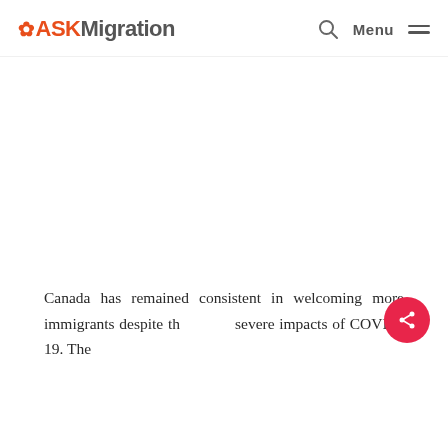ASKMigration — Menu
[Figure (other): Blank white hero/banner area]
Canada has remained consistent in welcoming more immigrants despite the severe impacts of COVID-19. The